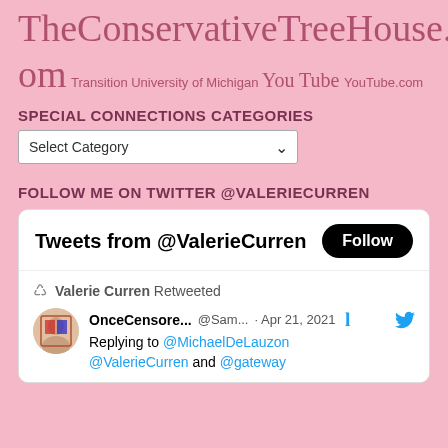TheConservativeTreeHouse.com  Transition  University of Michigan  You Tube  YouTube.com
SPECIAL CONNECTIONS CATEGORIES
Select Category (dropdown)
FOLLOW ME ON TWITTER @VALERIECURREN
[Figure (screenshot): Twitter widget showing 'Tweets from @ValerieCurren' with a Follow button, and a retweet from OnceCensore... @Sam... Apr 21, 2021 replying to @MichaelDeLauzon, @ValerieCurren and @gateway]